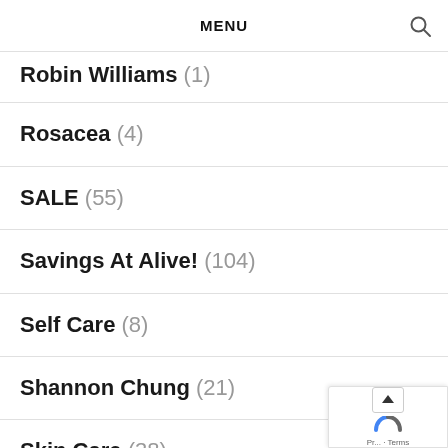MENU
Robin Williams (1)
Rosacea (4)
SALE (55)
Savings At Alive! (104)
Self Care (8)
Shannon Chung (21)
Skin Care (38)
Sleep (16)